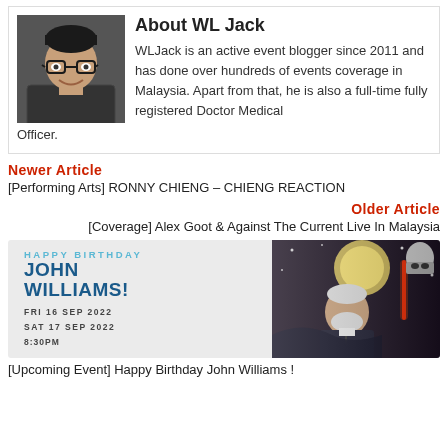[Figure (photo): Headshot photo of WL Jack, a man with glasses smiling]
About WL Jack
WLJack is an active event blogger since 2011 and has done over hundreds of events coverage in Malaysia. Apart from that, he is also a full-time fully registered Doctor Medical Officer.
Newer Article
[Performing Arts] RONNY CHIENG – CHIENG REACTION
Older Article
[Coverage] Alex Goot & Against The Current Live In Malaysia
[Figure (illustration): Happy Birthday John Williams event banner with text: HAPPY BIRTHDAY JOHN WILLIAMS! FRI 16 SEP 2022 SAT 17 SEP 2022 8:30PM, alongside an image of John Williams with Star Wars themed background]
[Upcoming Event] Happy Birthday John Williams !